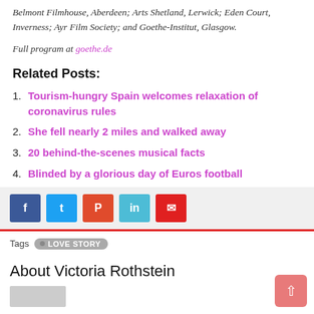Belmont Filmhouse, Aberdeen; Arts Shetland, Lerwick; Eden Court, Inverness; Ayr Film Society; and Goethe-Institut, Glasgow.
Full program at goethe.de
Related Posts:
1. Tourism-hungry Spain welcomes relaxation of coronavirus rules
2. She fell nearly 2 miles and walked away
3. 20 behind-the-scenes musical facts
4. Blinded by a glorious day of Euros football
Tags  LOVE STORY
About Victoria Rothstein